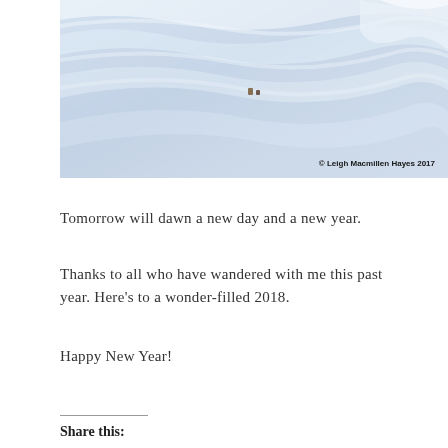[Figure (photo): Winter snow landscape photograph with diagonal wind-swept snow ridges. Two small dark animal figures visible in the center. Copyright watermark reads '© Leigh Macmillen Hayes 2017' in bottom right.]
Tomorrow will dawn a new day and a new year.
Thanks to all who have wandered with me this past year. Here's to a wonder-filled 2018.
Happy New Year!
Share this: